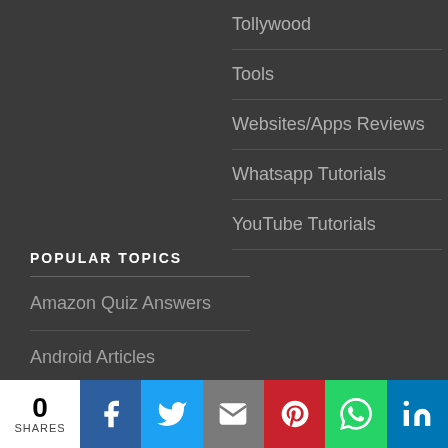Tollywood
Tools
Websites/Apps Reviews
Whatsapp Tutorials
YouTube Tutorials
POPULAR TOPICS
Amazon Quiz Answers
Android Articles
Articles
Blogger Tutorials
0 SHARES